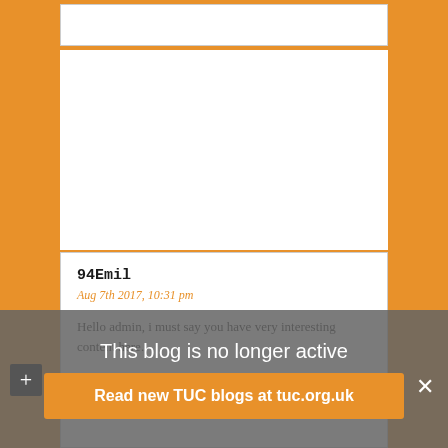94Emil
Aug 7th 2017, 10:31 pm
Hello admin, i must say you have very interesting content here.
Your website can go viral. You need initial traffic only. How to get it? Search for: Mertiso’s tips go viral
This blog is no longer active
Read new TUC blogs at tuc.org.uk